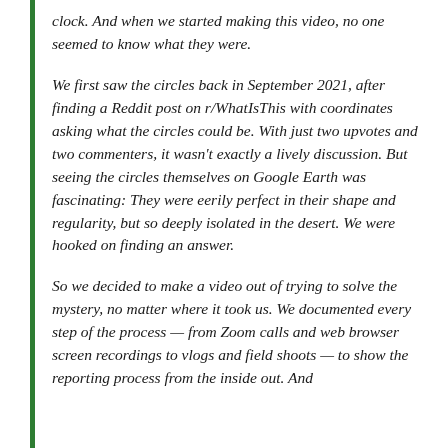clock. And when we started making this video, no one seemed to know what they were.
We first saw the circles back in September 2021, after finding a Reddit post on r/WhatIsThis with coordinates asking what the circles could be. With just two upvotes and two commenters, it wasn't exactly a lively discussion. But seeing the circles themselves on Google Earth was fascinating: They were eerily perfect in their shape and regularity, but so deeply isolated in the desert. We were hooked on finding an answer.
So we decided to make a video out of trying to solve the mystery, no matter where it took us. We documented every step of the process — from Zoom calls and web browser screen recordings to vlogs and field shoots — to show the reporting process from the inside out. And